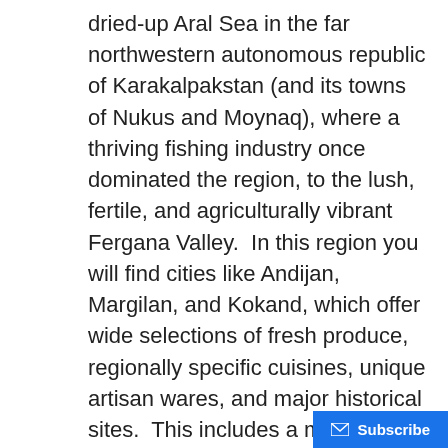dried-up Aral Sea in the far northwestern autonomous republic of Karakalpakstan (and its towns of Nukus and Moynaq), where a thriving fishing industry once dominated the region, to the lush, fertile, and agriculturally vibrant Fergana Valley.  In this region you will find cities like Andijan, Margilan, and Kokand, which offer wide selections of fresh produce, regionally specific cuisines, unique artisan wares, and major historical sites.  This includes a museum devoted to the life and history of Babur, the founder of the Mughal Empire and author of the Bāburnāma.
The country is dynamic and diverse in its ecology, terrain, people, society, and culture—there are expansive deserts, towering mountains, mighty rivers, and breathtaking valleys.  Across the country people from almost every regional background come together and share in